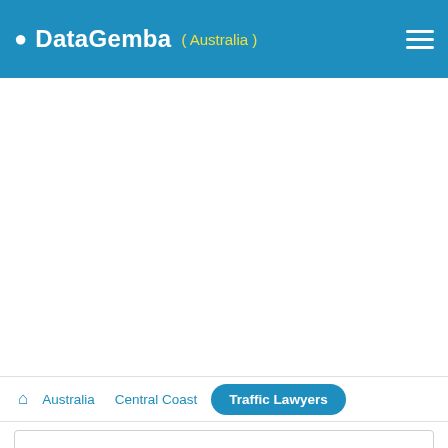DataGemba ( Australia )
Australia  Central Coast  Traffic Lawyers
Traffic Lawyers